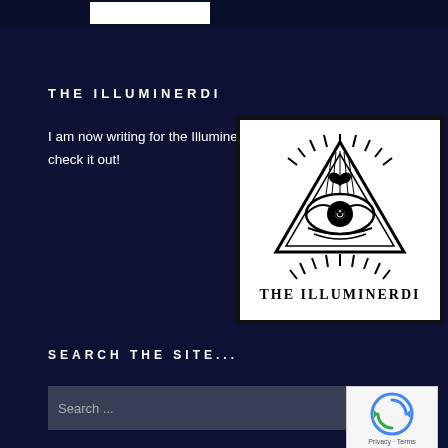THE ILLUMINERDI
I am now writing for the Illuminerdi, check it out!
[Figure (logo): The Illuminerdi logo: a pyramid with an all-seeing eye inside, surrounded by sunburst rays, with text THE ILLUMINERDI below, black and white design on white background]
SEARCH THE SITE...
Search ...